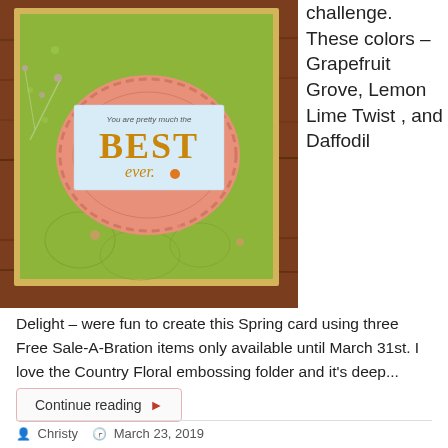[Figure (photo): A handmade Spring greeting card with green embossed background, peach/salmon doily decoration, and a white label reading 'You are pretty much the BEST ever' in gold lettering, displayed on a wood surface]
challenge. These colors – Grapefruit Grove, Lemon Lime Twist , and Daffodil
Delight – were fun to create this Spring card using three Free Sale-A-Bration items only available until March 31st. I love the Country Floral embossing folder and it's deep...
Continue reading ▶
Christy   March 23, 2019